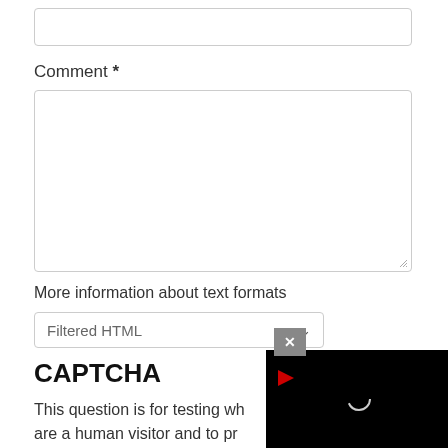[Figure (screenshot): Empty text input field with rounded border]
Comment *
[Figure (screenshot): Large empty textarea with rounded border and resize handle]
More information about text formats
[Figure (screenshot): Dropdown select box showing 'Filtered HTML' with chevron arrow]
[Figure (screenshot): Dark video overlay popup with close button (X), red play arrow, and circular loading spinner on black background]
CAPTCHA
This question is for testing wh are a human visitor and to pr